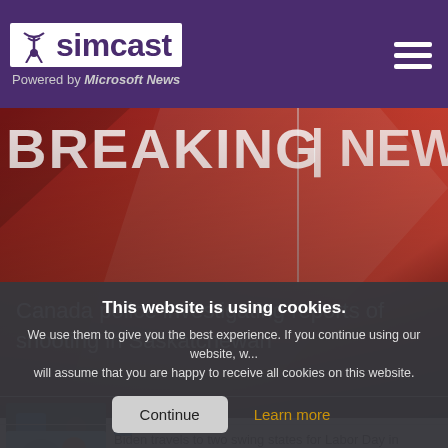simcast — Powered by Microsoft News
[Figure (screenshot): Breaking News banner with red background and text 'Canada police investigating reports of shooting in Saskatchewan']
This website is using cookies. We use them to give you the best experience. If you continue using our website, w... will assume that you are happy to receive all cookies on this website.
Continue | Learn more
Digital Trends
Biden travels to two swing states for Labor Day in midterms push